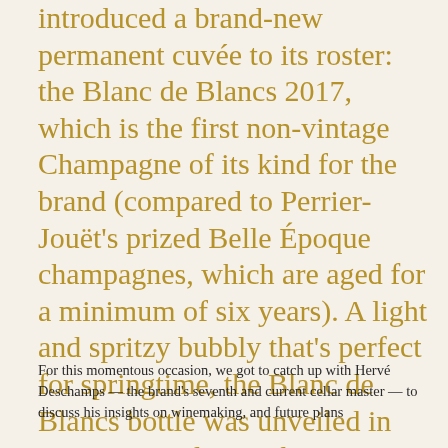introduced a brand-new permanent cuvée to its roster: the Blanc de Blancs 2017, which is the first non-vintage Champagne of its kind for the brand (compared to Perrier-Jouët's prized Belle Époque champagnes, which are aged for a minimum of six years). A light and spritzy bubbly that's perfect for springtime, the Blanc de Blancs bottle was unveiled in Hong Kong during the city's busy Art Week, in an art-inspired pop-up bar at Pacific Place.
For this momentous occasion, we got to catch up with Hervé Deschamps — the brand's seventh and current cellar master — to discuss his insights on winemaking, and future plans